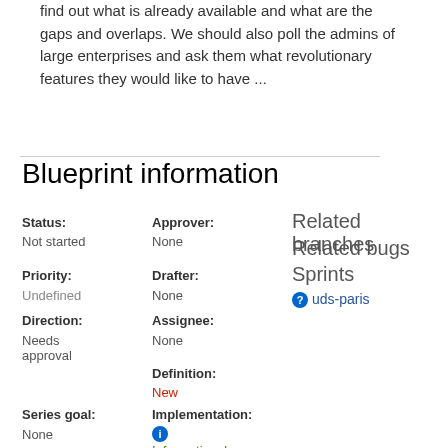find out what is already available and what are the gaps and overlaps. We should also poll the admins of large enterprises and ask them what revolutionary features they would like to have ...
Blueprint information
| Status: | Approver: | Related branches / Related bugs / Sprints |
| --- | --- | --- |
| Not started | None | Related branches |
|  |  | Related bugs |
|  |  | Sprints |
|  |  | uds-paris |
| Priority: | Drafter: |  |
| Undefined | None |  |
| Direction: | Assignee: |  |
| Needs approval | None |  |
|  | Definition: |  |
|  | New |  |
| Series goal: | Implementation: |  |
| None | Informational |  |